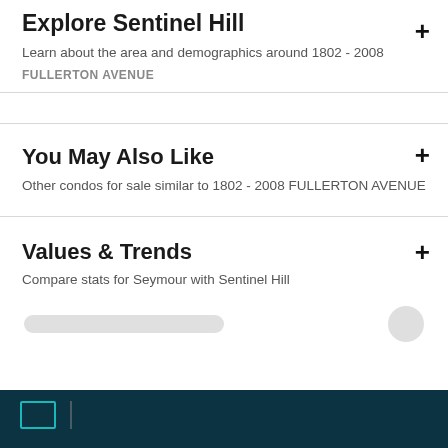Explore Sentinel Hill
Learn about the area and demographics around 1802 - 2008
FULLERTON AVENUE
You May Also Like
Other condos for sale similar to 1802 - 2008 FULLERTON AVENUE
Values & Trends
Compare stats for Seymour with Sentinel Hill
[Figure (other): Blurred/redacted navigation bar area with blurred text and a circular button on the right]
Footer with dark teal background, teal square icon and vertical divider